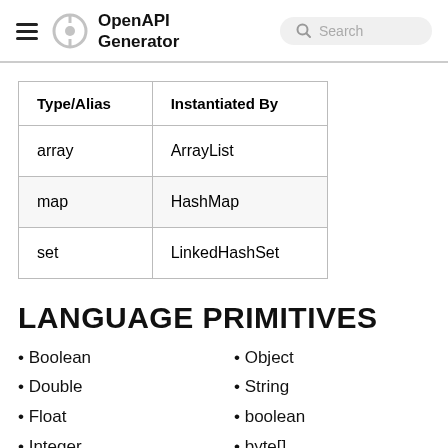OpenAPI Generator
| Type/Alias | Instantiated By |
| --- | --- |
| array | ArrayList |
| map | HashMap |
| set | LinkedHashSet |
LANGUAGE PRIMITIVES
Boolean
Double
Float
Integer
Object
String
boolean
byte[]